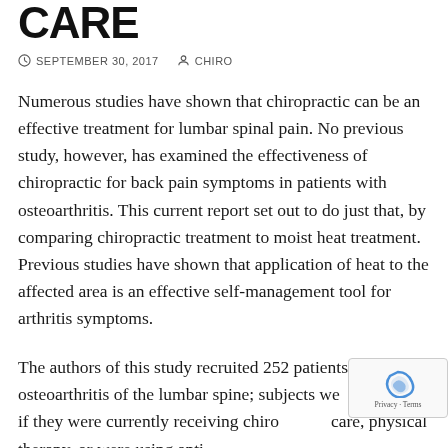CARE
SEPTEMBER 30, 2017   CHIRO
Numerous studies have shown that chiropractic can be an effective treatment for lumbar spinal pain. No previous study, however, has examined the effectiveness of chiropractic for back pain symptoms in patients with osteoarthritis. This current report set out to do just that, by comparing chiropractic treatment to moist heat treatment. Previous studies have shown that application of heat to the affected area is an effective self-management tool for arthritis symptoms.
The authors of this study recruited 252 patients with osteoarthritis of the lumbar spine; subjects were excluded if they were currently receiving chiropractic care, physical therapy, or were using anti-